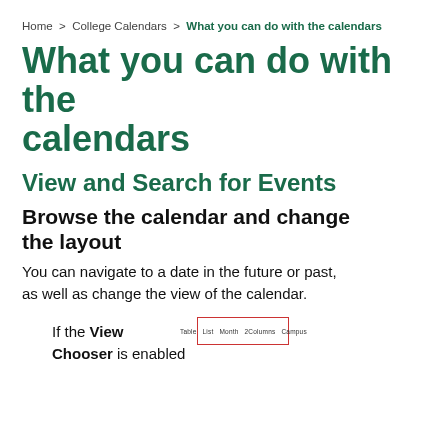Home > College Calendars > What you can do with the calendars
What you can do with the calendars
View and Search for Events
Browse the calendar and change the layout
You can navigate to a date in the future or past, as well as change the view of the calendar.
If the View Chooser is enabled
[Figure (screenshot): A screenshot of calendar view tabs showing Table, List, Month, 2Columns, Campus options with a red border highlight]